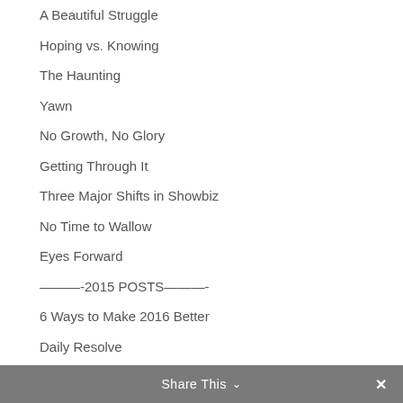A Beautiful Struggle
Hoping vs. Knowing
The Haunting
Yawn
No Growth, No Glory
Getting Through It
Three Major Shifts in Showbiz
No Time to Wallow
Eyes Forward
———-2015 POSTS———-
6 Ways to Make 2016 Better
Daily Resolve
Share This ∨  ✕